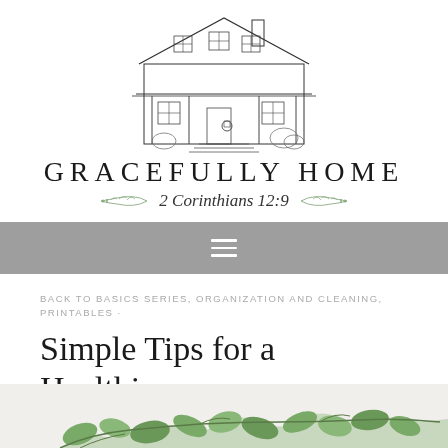[Figure (illustration): Pencil sketch illustration of a two-story farmhouse with front porch, chimney, windows, and a star decoration on the door]
GRACEFULLY HOME
2 Corinthians 12:9
[Figure (other): Gray navigation bar with white hamburger menu icon (three horizontal lines)]
BACK TO BASICS SERIES, ORGANIZATION AND CLEANING, PRINTABLES ·
Simple Tips for a Healthier Home
[Figure (photo): Bottom portion of image showing eucalyptus branches with green leaves on a light background]